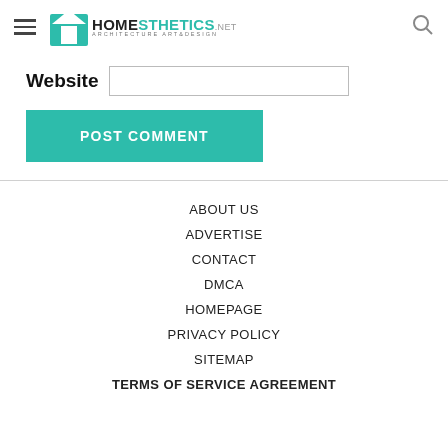Homesthetics — Architecture Art & Design
Website [input field]
POST COMMENT
ABOUT US
ADVERTISE
CONTACT
DMCA
HOMEPAGE
PRIVACY POLICY
SITEMAP
TERMS OF SERVICE AGREEMENT